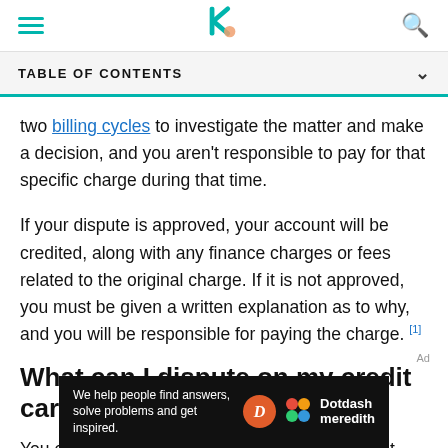TABLE OF CONTENTS
two billing cycles to investigate the matter and make a decision, and you aren't responsible to pay for that specific charge during that time.
If your dispute is approved, your account will be credited, along with any finance charges or fees related to the original charge. If it is not approved, you must be given a written explanation as to why, and you will be responsible for paying the charge. [1]
What can I dispute on my credit card?
You can dispute charges on your credit card that meet
[Figure (infographic): Dotdash Meredith advertisement banner: 'We help people find answers, solve problems and get inspired.' with Dotdash Meredith logo]